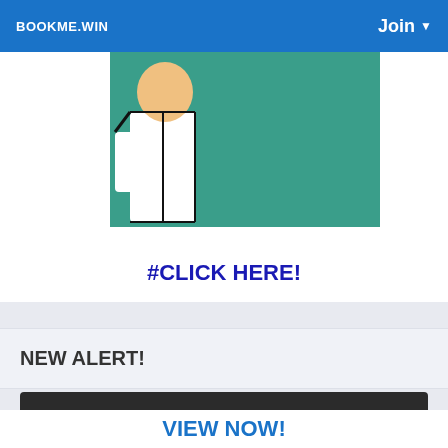BOOKME.WIN   Join ▼
[Figure (illustration): Partial illustration showing a cartoon figure in white uniform and teal/green background, cropped at top]
#CLICK HERE!
NEW ALERT!
This website uses cookies to ensure you get the best experience on our website
Learn More
Got It!
VIEW NOW!